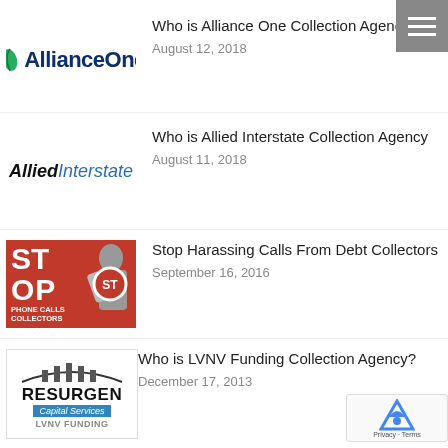[Figure (logo): Alliance One Collection Agency logo with leaf icon and bold blue text 'AllianceOne']
Who is Alliance One Collection Agency
August 12, 2018
[Figure (logo): Allied Interstate logo with bold 'Allied' and italic blue 'Interstate' text]
Who is Allied Interstate Collection Agency
August 11, 2018
[Figure (photo): Red image with STOP text, phone calls collectors caption, and person holding stop sign]
Stop Harassing Calls From Debt Collectors
September 16, 2016
[Figure (logo): Resurgent Capital Services / LVNV Funding logo]
Who is LVNV Funding Collection Agency?
December 17, 2013